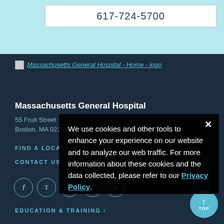617-724-5700
[Figure (logo): Massachusetts General Hospital - Home - logo]
Massachusetts General Hospital
55 Fruit Street
Boston, MA 02114
FIND A LOCATION ›
CONTACT US ›
We use cookies and other tools to enhance your experience on our website and to analyze our web traffic. For more information about these cookies and the data collected, please refer to our Privacy Policy.
EDUCATION & TRAINING ›